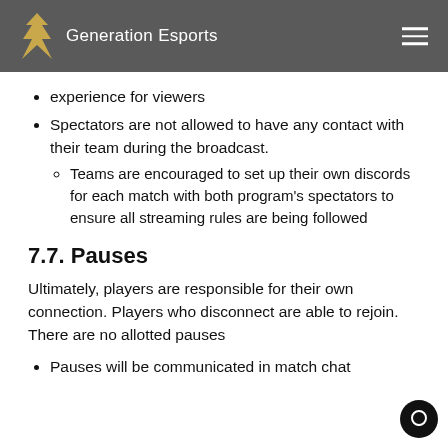Generation Esports
experience for viewers
Spectators are not allowed to have any contact with their team during the broadcast.
Teams are encouraged to set up their own discords for each match with both program's spectators to ensure all streaming rules are being followed
7.7. Pauses
Ultimately, players are responsible for their own connection. Players who disconnect are able to rejoin. There are no allotted pauses
Pauses will be communicated in match chat